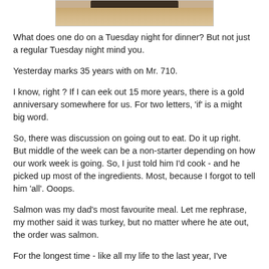[Figure (photo): Partial photo showing the bottom portion of an item on a wooden surface, cropped at the top of the page.]
What does one do on a Tuesday night for dinner?  But not just a regular Tuesday night mind you.
Yesterday marks 35 years with on Mr. 710.
I know, right ?   If I can eek out 15 more years, there is a gold anniversary somewhere for us. For two letters, 'if' is a might big word.
So, there was discussion on going out to eat. Do it up right. But middle of the week can be a non-starter depending on how our work week is going. So, I just told him I'd cook - and he picked up most of the ingredients. Most, because I forgot to tell him 'all'.  Ooops.
Salmon was my dad's most favourite meal. Let me rephrase, my mother said it was turkey, but no matter where he ate out, the order was salmon.
For the longest time - like all my life to the last year, I've